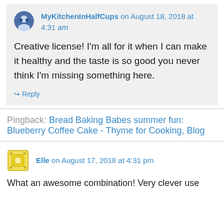MyKitchenInHalfCups on August 18, 2018 at 4:31 am
Creative license! I'm all for it when I can make it healthy and the taste is so good you never think I'm missing something here.
↳ Reply
Pingback: Bread Baking Babes summer fun: Blueberry Coffee Cake - Thyme for Cooking, Blog
Elle on August 17, 2018 at 4:31 pm
What an awesome combination! Very clever use